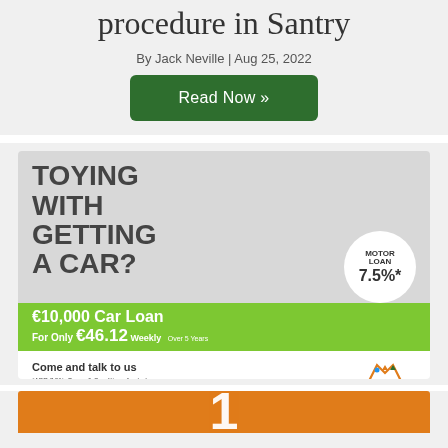procedure in Santry
By Jack Neville | Aug 25, 2022
Read Now »
[Figure (illustration): Sarsfield Credit Union advertisement: 'Toying with getting a car?' with €10,000 Car Loan for only €46.12 Weekly. Motor Loan 7.5%*. Come and talk to us. Sarsfield Credit Union Ltd logo. Small print: *APR 7.5%. Terms & Conditions Apply. Loans Subject to Approval. Sarsfield Credit Union Ltd. is regulated by the Central Bank of Ireland.]
[Figure (illustration): Orange banner with large number, partial view at bottom of page.]